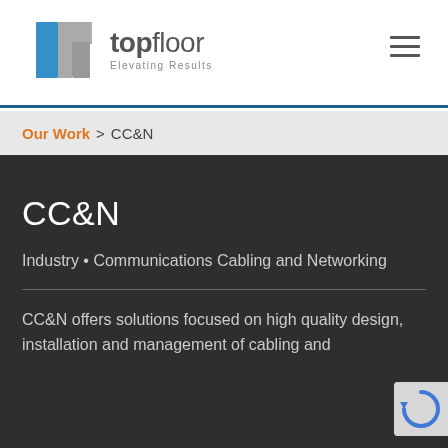[Figure (logo): Topfloor logo with blue and grey T-shape icon and wordmark 'topfloor Elevating Results']
topfloor — Elevating Results
Our Work > CC&N
CC&N
Industry • Communications Cabling and Networking
CC&N offers solutions focused on high quality design, installation and management of cabling and